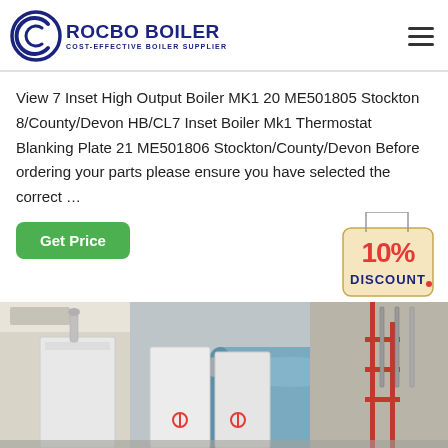ROCBO BOILER - COST-EFFECTIVE BOILER SUPPLIER
View 7 Inset High Output Boiler MK1 20 ME501805 Stockton 8/County/Devon HB/CL7 Inset Boiler Mk1 Thermostat Blanking Plate 21 ME501806 Stockton/County/Devon Before ordering your parts please ensure you have selected the correct …
Get Price
[Figure (infographic): 10% DISCOUNT badge/tag graphic]
[Figure (photo): Industrial boiler room showing white boiler units and a large horizontal blue cylindrical boiler tank with piping and red scaffolding structure]